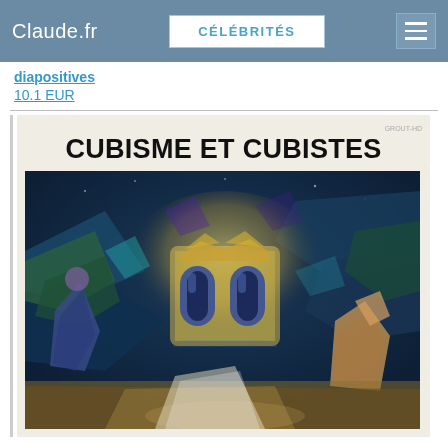Claude.fr | CÉLÉBRITÉS
diapositives
10.1 EUR
[Figure (illustration): Book cover for 'CUBISME ET CUBISTES' showing a colorful cubist painting of an architectural scene with arches, figures, and vibrant blues, greens, and yellows]